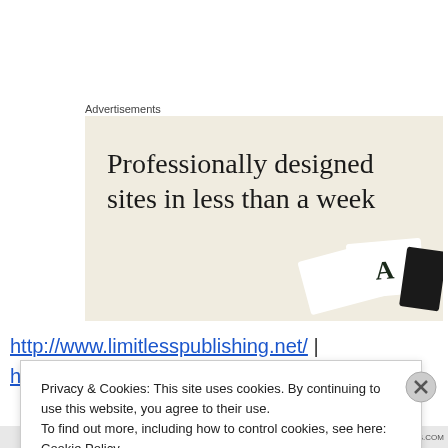Advertisements
[Figure (screenshot): Advertisement banner with beige background showing text: 'Professionally designed sites in less than a week' with card/design mockup images in the bottom right corner.]
http://www.limitlesspublishing.net/ |
Privacy & Cookies: This site uses cookies. By continuing to use this website, you agree to their use.
To find out more, including how to control cookies, see here: Cookie Policy
Close and accept